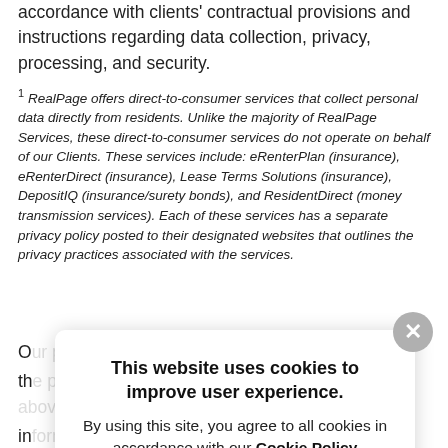accordance with clients' contractual provisions and instructions regarding data collection, privacy, processing, and security.
1 RealPage offers direct-to-consumer services that collect personal data directly from residents. Unlike the majority of RealPage Services, these direct-to-consumer services do not operate on behalf of our Clients. These services include: eRenterPlan (insurance), eRenterDirect (insurance), Lease Terms Solutions (insurance), DepositIQ (insurance/surety bonds), and ResidentDirect (money transmission services). Each of these services has a separate privacy policy posted to their designated websites that outlines the privacy practices associated with the services.
O[ur...] r th[e...] in[...] fu[...] us[...] ne pr[...] Pr[...]
[Figure (screenshot): Cookie consent popup overlay with close button (gray circle with X), bold title 'This website uses cookies to improve user experience.', and body text 'By using this site, you agree to all cookies in accordance with our Cookie Policy']